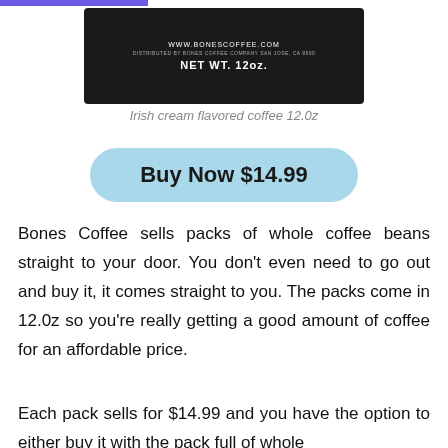[Figure (photo): Black coffee bag packaging with www.bonescoffee.com URL and NET WT. 12oz text visible on the label]
Irish cream flavored coffee 12.0z
Buy Now $14.99
Bones Coffee sells packs of whole coffee beans straight to your door. You don't even need to go out and buy it, it comes straight to you. The packs come in 12.0z so you're really getting a good amount of coffee for an affordable price.
Each pack sells for $14.99 and you have the option to either buy it with the pack full of whole